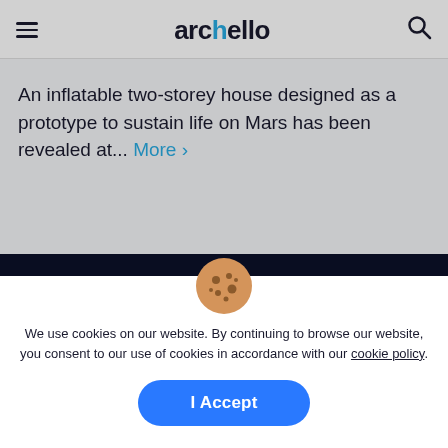archello
An inflatable two-storey house designed as a prototype to sustain life on Mars has been revealed at... More ›
Discover
We use cookies on our website. By continuing to browse our website, you consent to our use of cookies in accordance with our cookie policy.